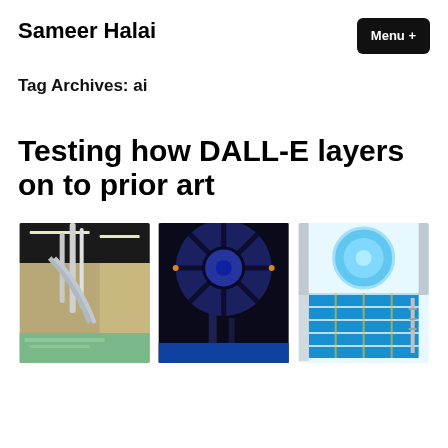Sameer Halai
Menu +
Tag Archives: ai
Testing how DALL-E layers on to prior art
[Figure (photo): Indoor facility with water slides, metal railings, and industrial ceiling with linear lights]
[Figure (photo): Circular dome ceiling with radiating blue structural panels and water park rides below]
[Figure (photo): Indoor swimming pool with blue lanes viewed from above, circular skylight overhead]